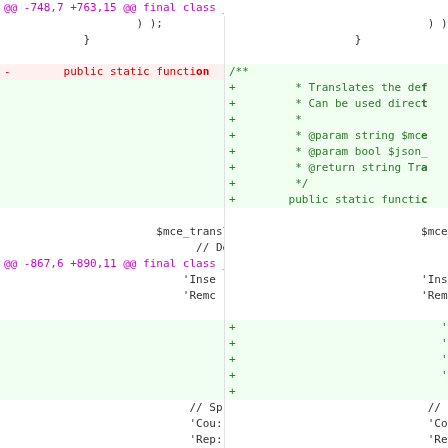[Figure (screenshot): A side-by-side diff view of PHP code for the _WP_Editors class, showing removed lines in red and added lines in green across two columns. The diff shows hunk headers @@ -748,7 +763,15 @@, @@ -867,6 +890,11 @@, and @@ -883,6 +911,7 @@.]